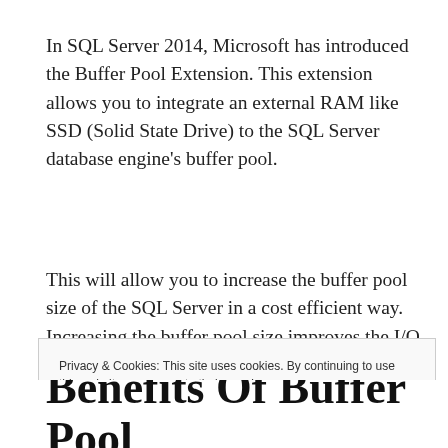In SQL Server 2014, Microsoft has introduced the Buffer Pool Extension. This extension allows you to integrate an external RAM like SSD (Solid State Drive) to the SQL Server database engine's buffer pool.
This will allow you to increase the buffer pool size of the SQL Server in a cost efficient way. Increasing the buffer pool size improves the I/O throughput of the database engine. But this Buffer
Privacy & Cookies: This site uses cookies. By continuing to use this website, you agree to their use. Learn more... Accept & Close
Benefits Of Buffer Pool